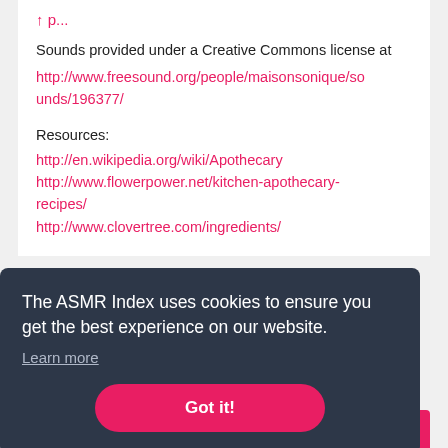Sounds provided under a Creative Commons license at
http://www.freesound.org/people/maisonsonique/sounds/196377/
Resources:
http://en.wikipedia.org/wiki/Apothecary
http://www.flowerpower.net/kitchen-apothecary-recipes/
http://www.clovertree.com/ingredients/
The ASMR Index uses cookies to ensure you get the best experience on our website.
Learn more
Got it!
Pharmacy and Pharmacist Role Play ASMR